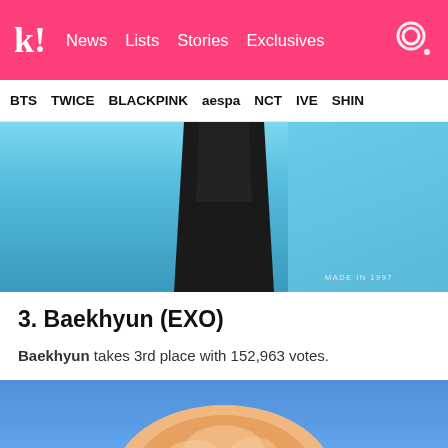k! News Lists Stories Exclusives
BTS TWICE BLACKPINK aespa NCT IVE SHINE
[Figure (photo): Person in dark clothing against a light blue background, with watermark text 'MADE IN 1997']
3. Baekhyun (EXO)
Baekhyun takes 3rd place with 152,963 votes.
[Figure (photo): Person with pink/blonde hair against a blue background, top of head visible]